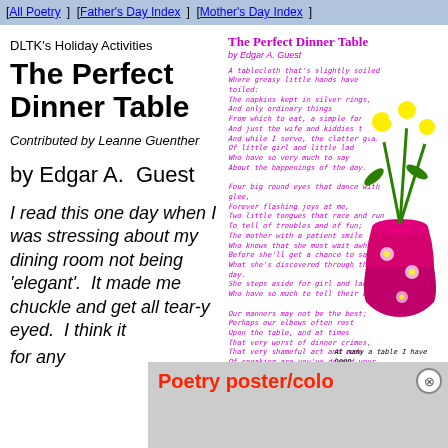[All Poetry]  [Father's Day Index]  [Mother's Day Index]
DLTK's Holiday Activities
The Perfect Dinner Table
Contributed by Leanne Guenther
by Edgar A.  Guest
I read this one day when I was stressing about my dining room not being 'elegant'.  It made me chuckle and get all tear-y eyed.  I think it ... for any
The Perfect Dinner Table
by Edgar A. Guest
A tablecloth that's slightly soiled
Where greasy little hands have toiled:
The napkins kept in silver rings,
And only ordinary things
From which to eat, a simple fare,
And just the wife and kiddies there,
And while I serve, the clatter glad
Of little girl and little lad
Who have so very much to say
About the happenings of the day.

Four big round eyes that dance with glee,
Forever flashing joys at me,
Two little tongues that race and run
To tell of troubles and of fun;
The mother with a patient smile
Who knows that she must wait awhile
Before she'll get a chance to say
What she's discovered through the day.
She steps aside for girl and lad
Who have so much to tell their dad.

Our manners may not be the best;
Perhaps our elbows often rest
Upon the table, and at times
That very worst of dinner crimes,
That very shameful act and rude
Of speaking are you've downed your food,
Too frequently, I fear, is done,
So fast the little voices run.
Yet why should table manners stay
Those tongues that have so much to say?
At many a table I have been
Where wealth and luxury were seen,
And I have dined in halls of pride
Where all the guests were dignified:
But when it comes to pleasure rare,
The perfect dinner table's where
No stranger's face is ever known.
The dinner hour we spend alone,
When little girl and little lad
Run riot telling things to dad.
[Figure (illustration): Colorful illustration of white daisies in a pink/magenta decorative vase with flower patterns]
Poetry poster/coloring